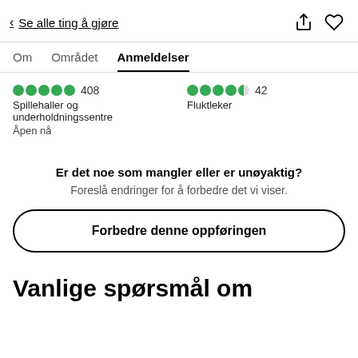< Se alle ting å gjøre
Om   Området   Anmeldelser
●●●●● 408  Spillehaller og underholdningssentre  Åpen nå
●●●●◑ 42  Fluktleker
Er det noe som mangler eller er unøyaktig?
Foreslå endringer for å forbedre det vi viser.
Forbedre denne oppføringen
Vanlige spørsmål om